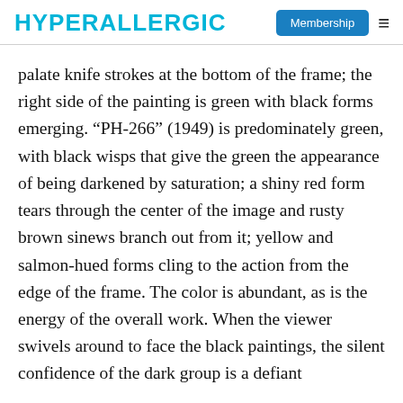HYPERALLERGIC | Membership
palate knife strokes at the bottom of the frame; the right side of the painting is green with black forms emerging. “PH-266” (1949) is predominately green, with black wisps that give the green the appearance of being darkened by saturation; a shiny red form tears through the center of the image and rusty brown sinews branch out from it; yellow and salmon-hued forms cling to the action from the edge of the frame. The color is abundant, as is the energy of the overall work. When the viewer swivels around to face the black paintings, the silent confidence of the dark group is a defiant